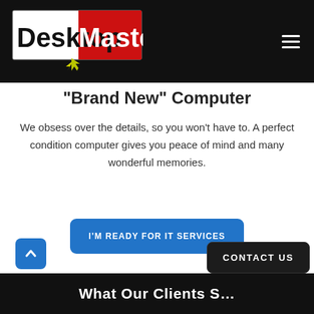[Figure (logo): DesktopMasters logo: white background with 'Desktop' in black bold text and 'Masters' in white bold text on red background, with a yellow mouse cursor arrow below, all inside a rectangular box]
"Brand New" Computer
We obsess over the details, so you won't have to. A perfect condition computer gives you peace of mind and many wonderful memories.
I'M READY FOR IT SERVICES
CONTACT US
What Our Clients S...